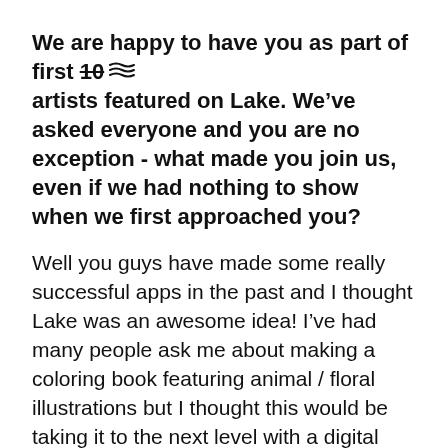We are happy to have you as part of first 10 [strikethrough] artists featured on Lake. We've asked everyone and you are no exception - what made you join us, even if we had nothing to show when we first approached you?
Well you guys have made some really successful apps in the past and I thought Lake was an awesome idea! I've had many people ask me about making a coloring book featuring animal / floral illustrations but I thought this would be taking it to the next level with a digital coloring app that has so many cool functions and printable